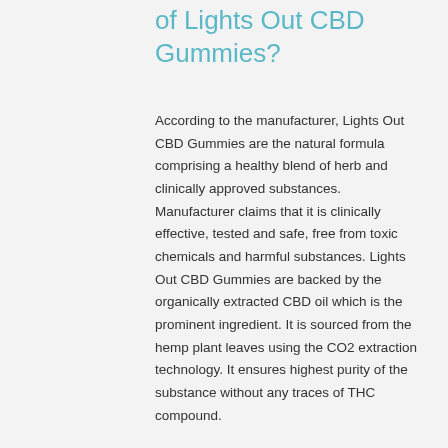of Lights Out CBD Gummies?
According to the manufacturer, Lights Out CBD Gummies are the natural formula comprising a healthy blend of herb and clinically approved substances. Manufacturer claims that it is clinically effective, tested and safe, free from toxic chemicals and harmful substances. Lights Out CBD Gummies are backed by the organically extracted CBD oil which is the prominent ingredient. It is sourced from the hemp plant leaves using the CO2 extraction technology. It ensures highest purity of the substance without any traces of THC compound.
Besides, the CBD oil also undergoes triple